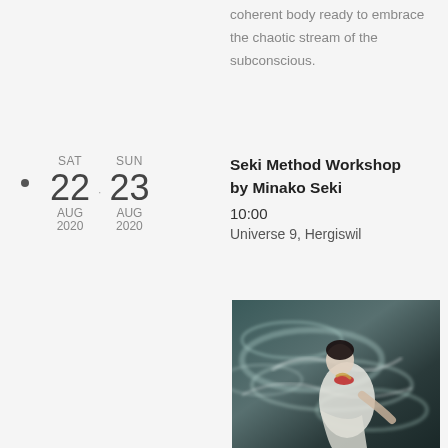coherent body ready to embrace the chaotic stream of the subconscious.
SAT 22 AUG 2020 – SUN 23 AUG 2020 | Seki Method Workshop by Minako Seki | 10:00 | Universe 9, Hergiswil
[Figure (photo): A dancer in white dress surrounded by swirling water or smoke, wearing a red accessory around the neck, dark dramatic background.]